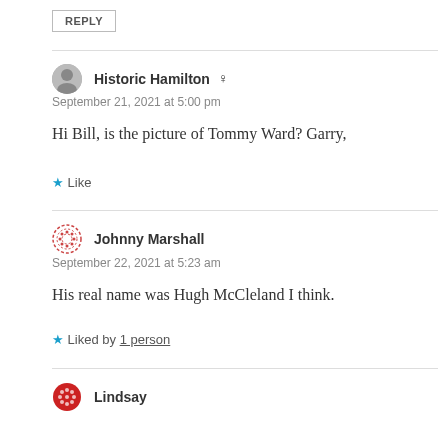REPLY
Historic Hamilton
September 21, 2021 at 5:00 pm
Hi Bill, is the picture of Tommy Ward? Garry,
Like
Johnny Marshall
September 22, 2021 at 5:23 am
His real name was Hugh McCleland I think.
Liked by 1 person
Lindsay